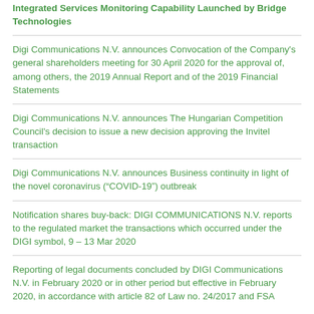Integrated Services Monitoring Capability Launched by Bridge Technologies
Digi Communications N.V. announces Convocation of the Company's general shareholders meeting for 30 April 2020 for the approval of, among others, the 2019 Annual Report and of the 2019 Financial Statements
Digi Communications N.V. announces The Hungarian Competition Council's decision to issue a new decision approving the Invitel transaction
Digi Communications N.V. announces Business continuity in light of the novel coronavirus (“COVID-19”) outbreak
Notification shares buy-back: DIGI COMMUNICATIONS N.V. reports to the regulated market the transactions which occurred under the DIGI symbol, 9 – 13 Mar 2020
Reporting of legal documents concluded by DIGI Communications N.V. in February 2020 or in other period but effective in February 2020, in accordance with article 82 of Law no. 24/2017 and FSA